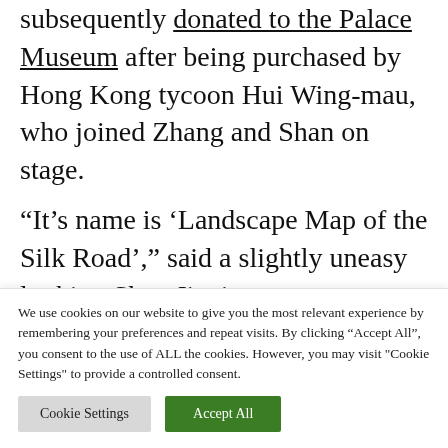subsequently donated to the Palace Museum after being purchased by Hong Kong tycoon Hui Wing-mau, who joined Zhang and Shan on stage.
“It’s name is ‘Landscape Map of the Silk Road’,” said a slightly uneasy looking Shan Jiaxiang.
“Would you like to see this ‘Landscape Map of the Silk Road!” Zhang boomed out to the
We use cookies on our website to give you the most relevant experience by remembering your preferences and repeat visits. By clicking “Accept All”, you consent to the use of ALL the cookies. However, you may visit "Cookie Settings" to provide a controlled consent.